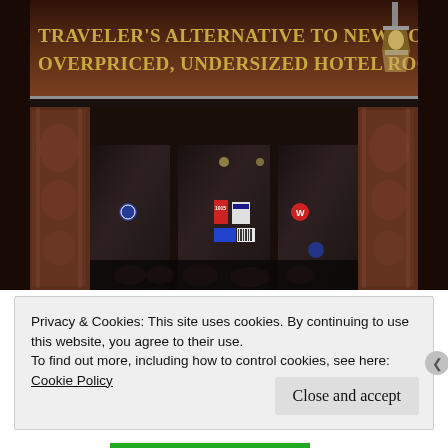[Figure (photo): Photograph of a New York storefront with a dark brown awning reading 'TRAVELER'S ALTERNATIVE TO NEW YORK'S OVERPRICED, UNDERSIZED HOTEL ROOMS' in gold letters. Below the awning are ornate dark pillar columns flanking glass entrance doors with various stickers/decals visible. A lantern lamp is mounted at top right of awning.]
Privacy & Cookies: This site uses cookies. By continuing to use this website, you agree to their use.
To find out more, including how to control cookies, see here: Cookie Policy
Close and accept